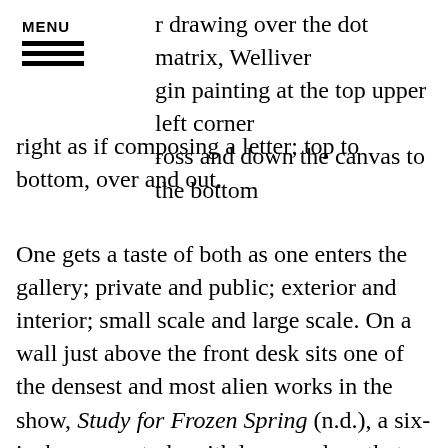MENU
r drawing over the dot matrix, Welliver gin painting at the top upper left corner ross and down the canvas to the bottom right as if composing a letter; top to bottom, over and out.
One gets a taste of both as one enters the gallery; private and public; exterior and interior; small scale and large scale. On a wall just above the front desk sits one of the densest and most alien works in the show, Study for Frozen Spring (n.d.), a six-inch square study with lumpy edges that virtually embeds itself into the wall like a meteorite. Across the gallery from it, inches become feet with Bear Hole (1991), a masterful